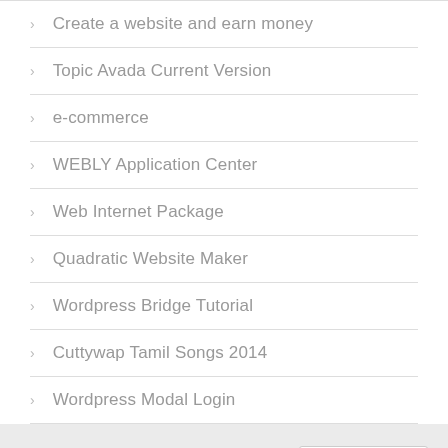Create a website and earn money
Topic Avada Current Version
e-commerce
WEBLY Application Center
Web Internet Package
Quadratic Website Maker
Wordpress Bridge Tutorial
Cuttywap Tamil Songs 2014
Wordpress Modal Login
© blogdesignsbydani.com
0,63 Sekunden
Impressum
Datenschutzerklärung